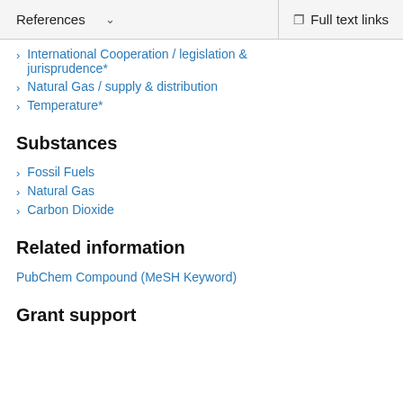References   ∨   Full text links
International Cooperation / legislation & jurisprudence*
Natural Gas / supply & distribution
Temperature*
Substances
Fossil Fuels
Natural Gas
Carbon Dioxide
Related information
PubChem Compound (MeSH Keyword)
Grant support